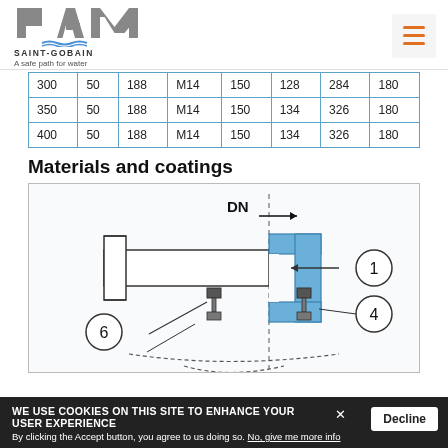PAM SAINT-GOBAIN — A safe path for water
| 300 | 50 | 188 | M14 | 150 | 128 | 284 | 180 |
| 350 | 50 | 188 | M14 | 150 | 134 | 326 | 180 |
| 400 | 50 | 188 | M14 | 150 | 134 | 326 | 180 |
Materials and coatings
[Figure (engineering-diagram): Cross-section engineering diagram of a pipe coupling/joint showing DN dimension arrow at top, a blue C-shaped flange component (labelled 1), bolt/nut assembly (labelled 4), and left-side assembly with bolt (labelled 6). Components shown in cross-section with hatching.]